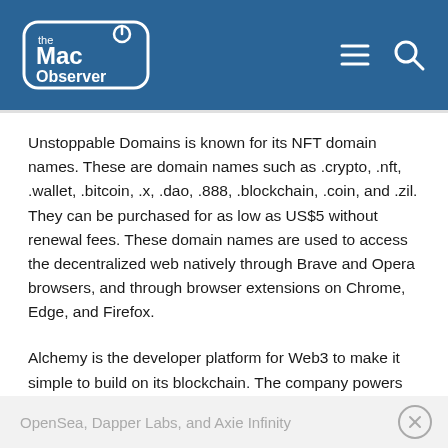The Mac Observer
Unstoppable Domains is known for its NFT domain names. These are domain names such as .crypto, .nft, .wallet, .bitcoin, .x, .dao, .888, .blockchain, .coin, and .zil. They can be purchased for as low as US$5 without renewal fees. These domain names are used to access the decentralized web natively through Brave and Opera browsers, and through browser extensions on Chrome, Edge, and Firefox.
Alchemy is the developer platform for Web3 to make it simple to build on its blockchain. The company powers the majority of top Web3 applications, including Adobe, OpenSea, Dapper Labs, and Axie Infinity